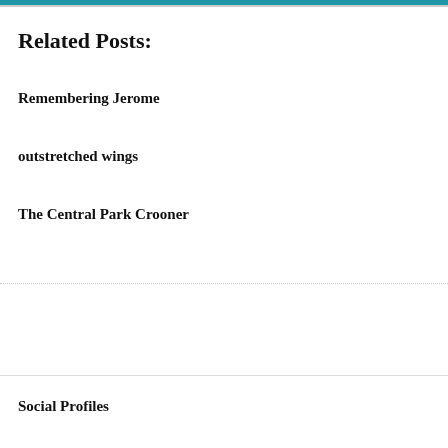Related Posts:
Remembering Jerome
outstretched wings
The Central Park Crooner
Social Profiles